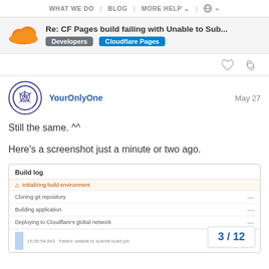WHAT WE DO | BLOG | MORE HELP | (globe)
Re: CF Pages build failing with Unable to Sub...
Developers | Cloudflare Pages
YourOnlyOne  May 27
Still the same. ^^
Here's a screenshot just a minute or two ago.
[Figure (screenshot): Build log screenshot showing: Initializing build environment (warning), Cloning git repository (—), Building application (—), Deploying to Cloudflare's global network (—), and a log line: 19:36:54.843  Failed: unable to submit build job]
3 / 12